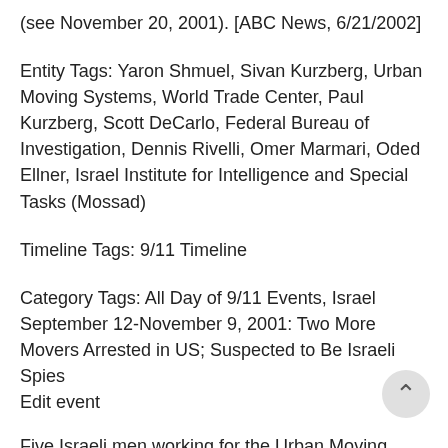(see November 20, 2001). [ABC News, 6/21/2002]
Entity Tags: Yaron Shmuel, Sivan Kurzberg, Urban Moving Systems, World Trade Center, Paul Kurzberg, Scott DeCarlo, Federal Bureau of Investigation, Dennis Rivelli, Omer Marmari, Oded Ellner, Israel Institute for Intelligence and Special Tasks (Mossad)
Timeline Tags: 9/11 Timeline
Category Tags: All Day of 9/11 Events, Israel September 12-November 9, 2001: Two More Movers Arrested in US; Suspected to Be Israeli Spies
Edit event
Five Israeli men working for the Urban Moving Systems were also suspected on 9/11...